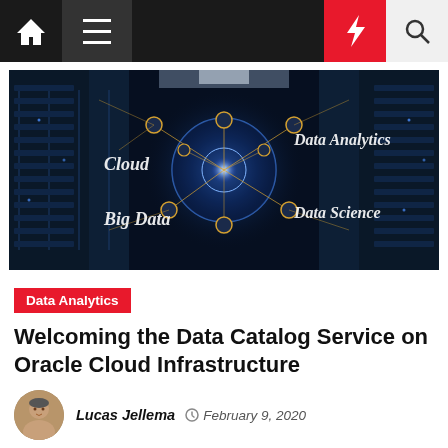Navigation bar with home, menu, bolt, and search icons
[Figure (photo): Data center server corridor with glowing network globe in center, labeled with Cloud, Big Data, Data Analytics, Data Science text overlays on dark blue background]
Data Analytics
Welcoming the Data Catalog Service on Oracle Cloud Infrastructure
Lucas Jellema  February 9, 2020